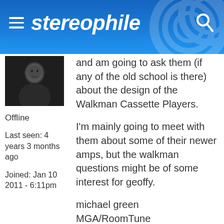stereophile
[Figure (photo): Black and white profile photo of a person]
Offline
Last seen: 4 years 3 months ago
Joined: Jan 10 2011 - 6:11pm
and am going to ask them (if any of the old school is there) about the design of the Walkman Cassette Players.
I'm mainly going to meet with them about some of their newer amps, but the walkman questions might be of some interest for geoffy.
michael green
MGA/RoomTune
http://tuneland.techno-zone.net/